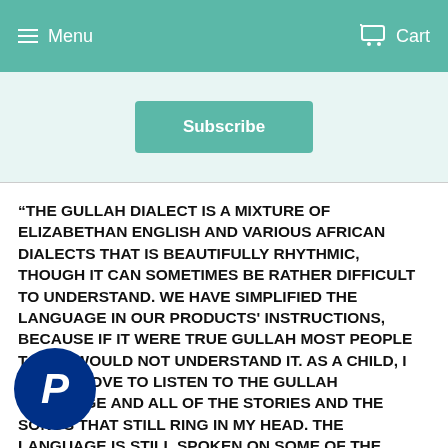Menu  Cart
Subscribe
“THE GULLAH DIALECT IS A MIXTURE OF ELIZABETHAN ENGLISH AND VARIOUS AFRICAN DIALECTS THAT IS BEAUTIFULLY RHYTHMIC, THOUGH IT CAN SOMETIMES BE RATHER DIFFICULT TO UNDERSTAND. WE HAVE SIMPLIFIED THE LANGUAGE IN OUR PRODUCTS' INSTRUCTIONS, BECAUSE IF IT WERE TRUE GULLAH MOST PEOPLE TODAY WOULD NOT UNDERSTAND IT. AS A CHILD, I WOULD LOVE TO LISTEN TO THE GULLAH LANGUAGE AND ALL OF THE STORIES AND THE SONGS THAT STILL RING IN MY HEAD. THE LANGUAGE IS STILL SPOKEN ON SOME OF THE OUTER ISLANDS AROUND OUR AREA, BUT ALMOST A LOST LANGUAGE AND I WANTED TO TRY TO KEEP ALIVE AND PAY HOMAGE TO THE VIBRANT CULTURE AND PEOPLE. IN OTHER WORDS, WHEN SOMEONE BUYS A PACKAGE OF GULLAH GOURMET, I NOT ONLY WANT THEM TO